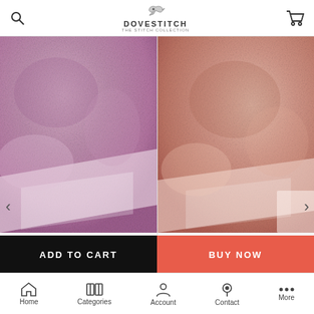Dovestitch — The Stitch Collection
[Figure (photo): Berry - Hand Dyed Effect Cross Stitch Fabric product photo showing pink/purple textured fabric]
[Figure (photo): Coral - Hand Dyed Effect Cross Stitch Fabric product photo showing coral/pink textured fabric]
CHOOSE OPTIONS
CHOOSE OPTIONS
Berry - Hand Dyed Effect Cross Stitch Fabric
Coral - Hand Dyed Effect Cross Stitch Fabric
£15.75
£15.75
ADD TO CART
BUY NOW
Home   Categories   Account   Contact   More